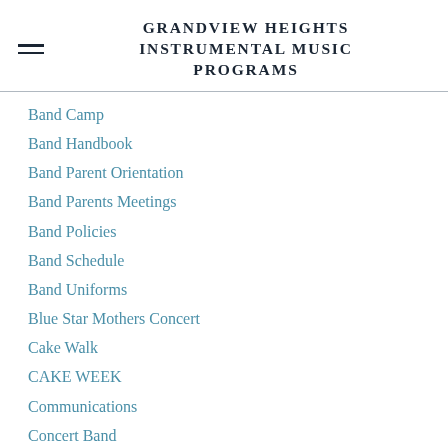GRANDVIEW HEIGHTS INSTRUMENTAL MUSIC PROGRAMS
Band Camp
Band Handbook
Band Parent Orientation
Band Parents Meetings
Band Policies
Band Schedule
Band Uniforms
Blue Star Mothers Concert
Cake Walk
CAKE WEEK
Communications
Concert Band
Concessions
Decal Drive
Enrichment Opportunities
Evening Rehearsals
Falco Park